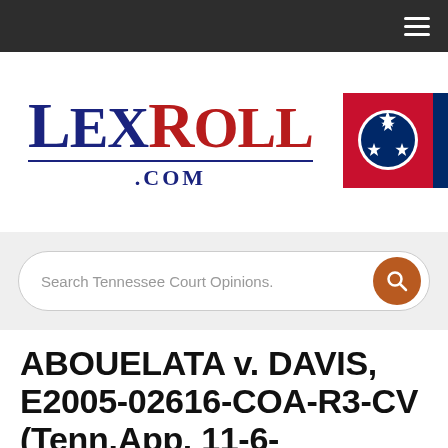Navigation bar with hamburger menu
[Figure (logo): LexRoll.com logo with navy blue 'Lex' and dark red 'Roll' text in serif font, with a horizontal underline and '.COM' below, alongside Tennessee state flag graphic (red background with blue circle containing three white stars)]
Search Tennessee Court Opinions.
ABOUELATA v. DAVIS, E2005-02616-COA-R3-CV (Tenn.App. 11-6-2006)